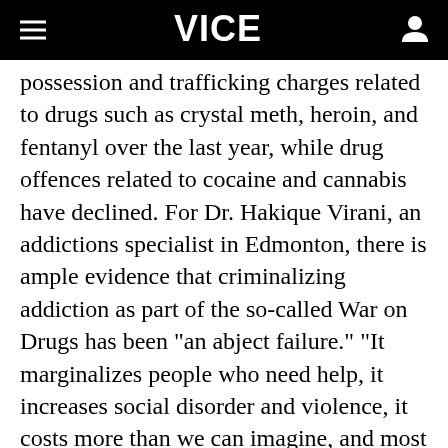VICE
possession and trafficking charges related to drugs such as crystal meth, heroin, and fentanyl over the last year, while drug offences related to cocaine and cannabis have declined. For Dr. Hakique Virani, an addictions specialist in Edmonton, there is ample evidence that criminalizing addiction as part of the so-called War on Drugs has been "an abject failure." "It marginalizes people who need help, it increases social disorder and violence, it costs more than we can imagine, and most importantly, it achieves none of its intents except treating some humans less humanely," Virani wrote in an email. Virani added that countries such as